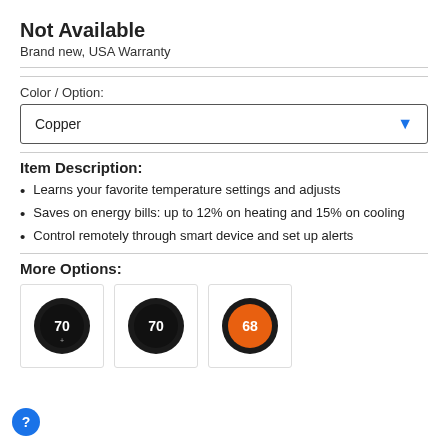Not Available
Brand new, USA Warranty
Color / Option:
Copper
Item Description:
Learns your favorite temperature settings and adjusts
Saves on energy bills: up to 12% on heating and 15% on cooling
Control remotely through smart device and set up alerts
More Options:
[Figure (photo): Three Nest thermostat options shown as thumbnail images: two black thermostats displaying 70, and one with an orange display showing 68]